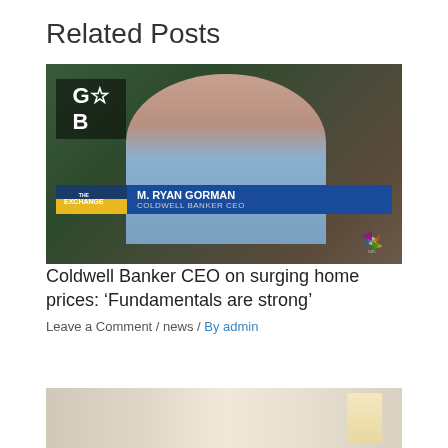Related Posts
[Figure (screenshot): TV screenshot of M. Ryan Gorman, Coldwell Banker CEO, appearing on CNBC The Exchange. Lower third graphic displays 'M. RYAN GORMAN / COLDWELL BANKER CEO'. The CB (Coldwell Banker) logo is visible in the upper left.]
Coldwell Banker CEO on surging home prices: ‘Fundamentals are strong’
Leave a Comment / news / By admin
[Figure (photo): Partial view of a second related post image showing an interior room with lamps.]